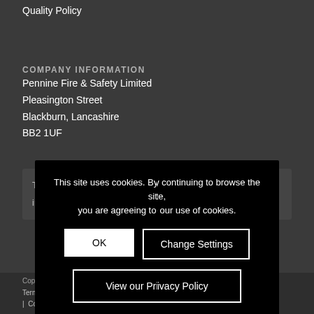Quality Policy
COMPANY INFORMATION
Pennine Fire & Safety Limited
Pleasington Street
Blackburn, Lancashire
BB2 1UF
Telephone: 01254 56725
info@penninefires.co.uk
This site uses cookies. By continuing to browse the site, you are agreeing to our use of cookies.
OK
Change Settings
View our Privacy Policy
Copyright © 2018 – Pennine Fire & Safety Limited
Terms & Conditions | Privacy & Cookies Policy | Copyright Statement | Quality Policy